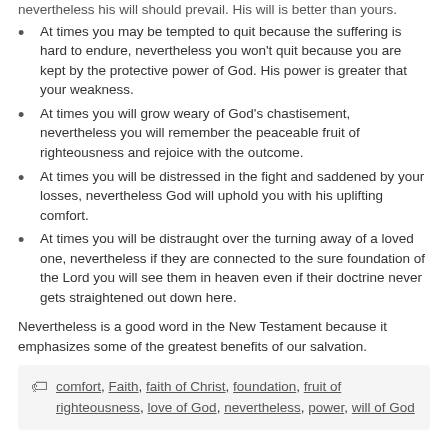nevertheless his will should prevail. His will is better than yours.
At times you may be tempted to quit because the suffering is hard to endure, nevertheless you won't quit because you are kept by the protective power of God. His power is greater that your weakness.
At times you will grow weary of God's chastisement, nevertheless you will remember the peaceable fruit of righteousness and rejoice with the outcome.
At times you will be distressed in the fight and saddened by your losses, nevertheless God will uphold you with his uplifting comfort.
At times you will be distraught over the turning away of a loved one, nevertheless if they are connected to the sure foundation of the Lord you will see them in heaven even if their doctrine never gets straightened out down here.
Nevertheless is a good word in the New Testament because it emphasizes some of the greatest benefits of our salvation.
comfort, Faith, faith of Christ, foundation, fruit of righteousness, love of God, nevertheless, power, will of God